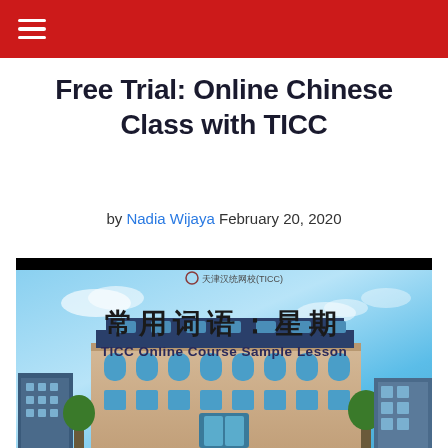☰ [navigation menu]
Free Trial: Online Chinese Class with TICC
by Nadia Wijaya February 20, 2020
[Figure (photo): Promotional thumbnail image for TICC Online Course Sample Lesson showing Chinese text '常用词语：星期' (Common Words: Days of the Week) overlaid on a photo of the TICC campus building with a blue sky background. The TICC logo appears at top center.]